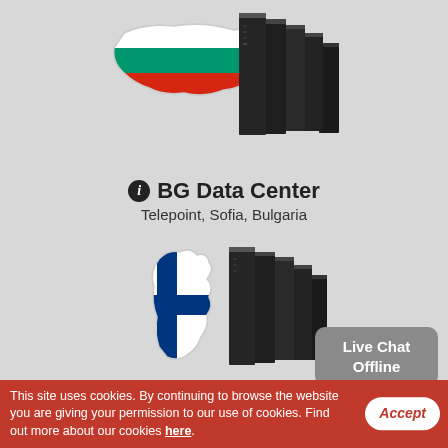[Figure (illustration): Bulgaria map with flag colors (white, green, red horizontal stripes) overlaid with a row of black server racks]
BG Data Center
Telepoint, Sofia, Bulgaria
[Figure (illustration): Finland map with flag colors (white with blue cross) overlaid with a row of black server racks]
Finland Data Center
Ficolo/Pori, Finland
Live Chat Offline
This site uses cookies. By continuing to browse the website you are giving your permission to our use of cookies. Find out more about our cookies here.